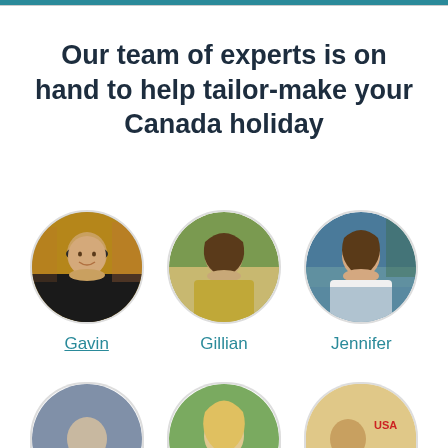Our team of experts is on hand to help tailor-make your Canada holiday
[Figure (photo): Circular photo of team member Gavin, man in black t-shirt in front of brick buildings]
Gavin
[Figure (photo): Circular photo of team member Gillian, woman outdoors in natural setting]
Gillian
[Figure (photo): Circular photo of team member Jennifer, woman in white near water with trees]
Jennifer
[Figure (photo): Circular photo of fourth team member, partially visible at bottom]
[Figure (photo): Circular photo of fifth team member, partially visible at bottom]
[Figure (photo): Circular photo of sixth team member, partially visible at bottom]